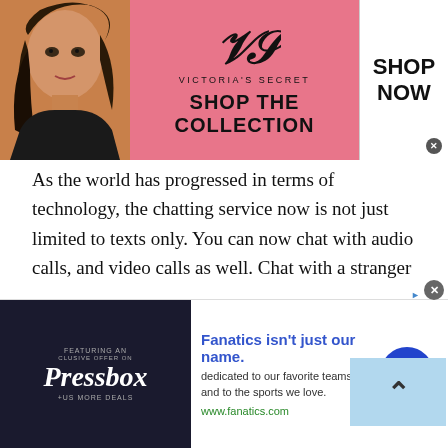[Figure (photo): Victoria's Secret advertisement banner with model, logo, 'SHOP THE COLLECTION' text and 'SHOP NOW' button]
As the world has progressed in terms of technology, the chatting service now is not just limited to texts only. You can now chat with audio calls, and video calls as well. Chat with a stranger provides an individual with the ability to video chat with random people of Kyrgyzstan. Through video chat, you can also see how the people in Kyrgyzstan are living. The reason being, there has been a conception around the world that Kyrgyzstan is a poor country. Now since you can chat with people of Kyrgyzstan
[Figure (screenshot): Fanatics advertisement banner with Pressbox logo, 'Fanatics isn't just our name.' headline, and arrow button]